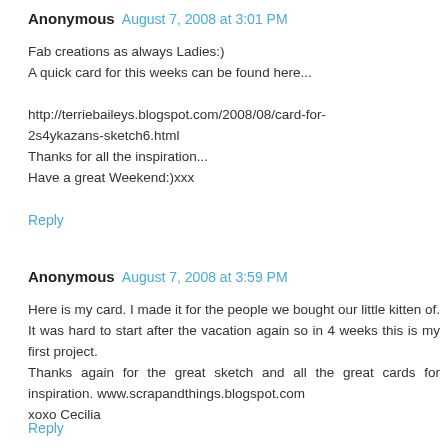Anonymous August 7, 2008 at 3:01 PM
Fab creations as always Ladies:)
A quick card for this weeks can be found here...

http://terriebaileys.blogspot.com/2008/08/card-for-2s4ykazans-sketch6.html
Thanks for all the inspiration...
Have a great Weekend:)xxx
Reply
Anonymous August 7, 2008 at 3:59 PM
Here is my card. I made it for the people we bought our little kitten of. It was hard to start after the vacation again so in 4 weeks this is my first project.
Thanks again for the great sketch and all the great cards for inspiration. www.scrapandthings.blogspot.com
xoxo Cecilia
Reply